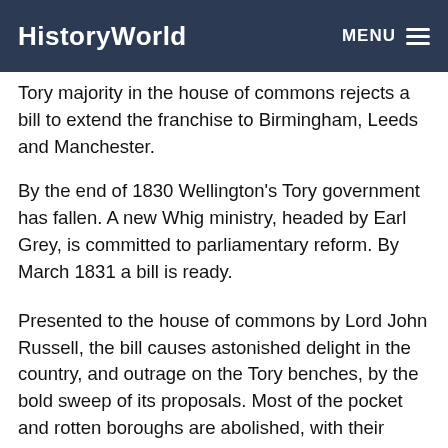HistoryWorld
Tory majority in the house of commons rejects a bill to extend the franchise to Birmingham, Leeds and Manchester.
By the end of 1830 Wellington's Tory government has fallen. A new Whig ministry, headed by Earl Grey, is committed to parliamentary reform. By March 1831 a bill is ready.
Presented to the house of commons by Lord John Russell, the bill causes astonished delight in the country, and outrage on the Tory benches, by the bold sweep of its proposals. Most of the pocket and rotten boroughs are abolished, with their seats in the house transferred to the industrial cities; the property qualification for electors, previously different all over the country, is rationalized.